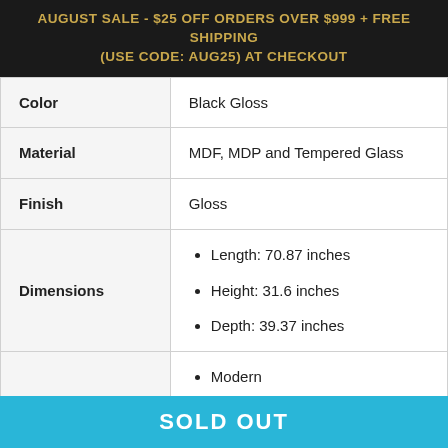AUGUST SALE - $25 OFF ORDERS OVER $999 + FREE SHIPPING (USE CODE: AUG25) AT CHECKOUT
| Attribute | Value |
| --- | --- |
| Color | Black Gloss |
| Material | MDF, MDP and Tempered Glass |
| Finish | Gloss |
| Dimensions | Length: 70.87 inches | Height: 31.6 inches | Depth: 39.37 inches |
|  | Modern |
SOLD OUT